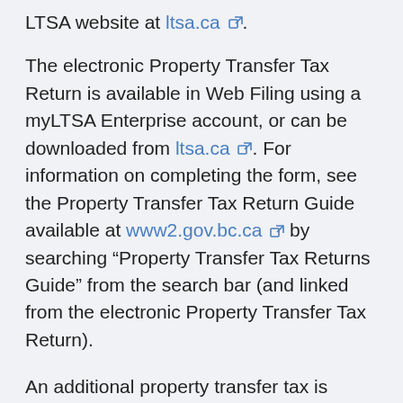LTSA website at ltsa.ca.
The electronic Property Transfer Tax Return is available in Web Filing using a myLTSA Enterprise account, or can be downloaded from ltsa.ca. For information on completing the form, see the Property Transfer Tax Return Guide available at www2.gov.bc.ca by searching "Property Transfer Tax Returns Guide" from the search bar (and linked from the electronic Property Transfer Tax Return).
An additional property transfer tax is payable by "foreign nationals", "foreign corporations", or "taxable trustees" who acquire "residential property" in certain areas of the